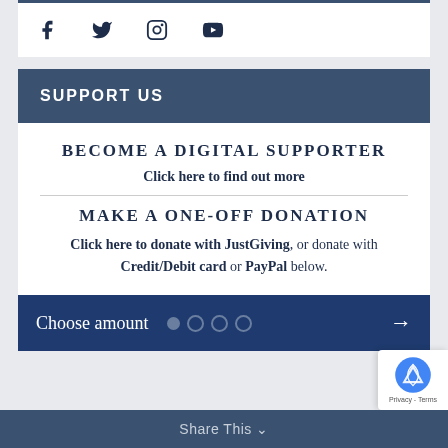[Figure (other): Social media icons: Facebook, Twitter, Instagram, YouTube]
SUPPORT US
BECOME A DIGITAL SUPPORTER
Click here to find out more
MAKE A ONE-OFF DONATION
Click here to donate with JustGiving, or donate with Credit/Debit card or PayPal below.
[Figure (other): Choose amount step indicator with filled and empty dots and right arrow]
Share This